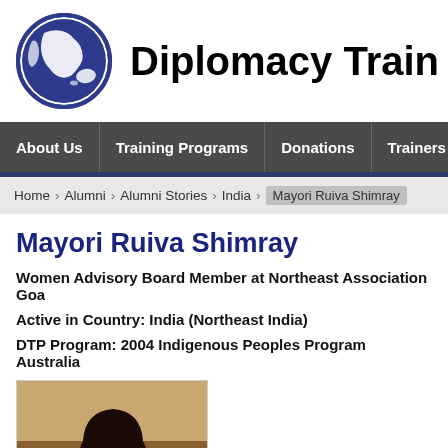[Figure (logo): Globe logo with dark blue circle outline and world map silhouette in dark blue/white]
Diplomacy Trainin
About Us | Training Programs | Donations | Trainers | A
Home > Alumni > Alumni Stories > India > Mayori Ruiva Shimray
Mayori Ruiva Shimray
Women Advisory Board Member at Northeast Association Goa
Active in Country: India (Northeast India)
DTP Program: 2004 Indigenous Peoples Program Australia
[Figure (photo): Portrait photo of Mayori Ruiva Shimray, a woman with long dark hair wearing a red outfit, background shows trees/nature]